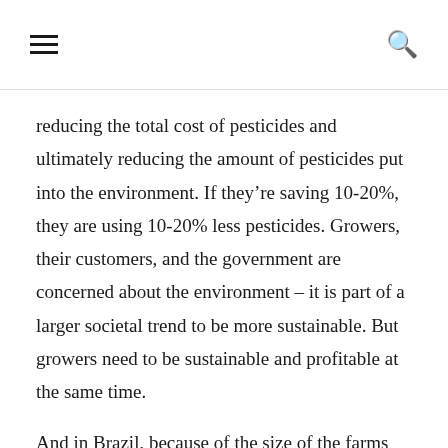☰  🔍
reducing the total cost of pesticides and ultimately reducing the amount of pesticides put into the environment. If they're saving 10-20%, they are using 10-20% less pesticides. Growers, their customers, and the government are concerned about the environment – it is part of a larger societal trend to be more sustainable. But growers need to be sustainable and profitable at the same time.
And in Brazil, because of the size of the farms and the climate, the problems are greater to manage. Our agriculture industry is 5x smarter than the US, but it's the biggest market in the